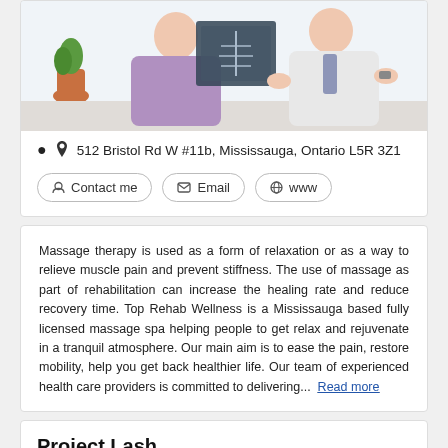[Figure (photo): Photo of a patient and doctor reviewing an X-ray, with a plant in the background]
512 Bristol Rd W #11b, Mississauga, Ontario L5R 3Z1
Contact me | Email | www
Massage therapy is used as a form of relaxation or as a way to relieve muscle pain and prevent stiffness. The use of massage as part of rehabilitation can increase the healing rate and reduce recovery time. Top Rehab Wellness is a Mississauga based fully licensed massage spa helping people to get relax and rejuvenate in a tranquil atmosphere. Our main aim is to ease the pain, restore mobility, help you get back healthier life. Our team of experienced health care providers is committed to delivering...  Read more
Project Lash
Makeup > Treatments
[Figure (photo): Partial photo at bottom of page, appears to be a beauty/makeup treatment image]